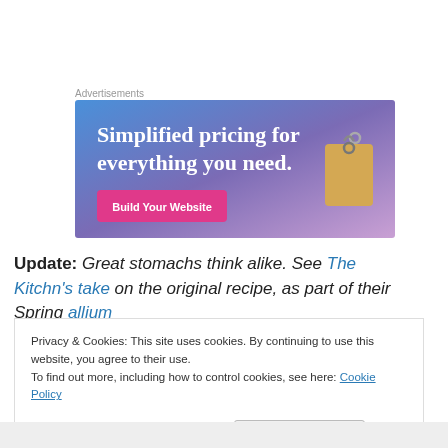Advertisements
[Figure (illustration): Advertisement banner with gradient blue-purple background showing text 'Simplified pricing for everything you need.' with a pink 'Build Your Website' button and a price tag image on the right]
Update: Great stomachs think alike. See The Kitchn's take on the original recipe, as part of their Spring allium
Privacy & Cookies: This site uses cookies. By continuing to use this website, you agree to their use. To find out more, including how to control cookies, see here: Cookie Policy